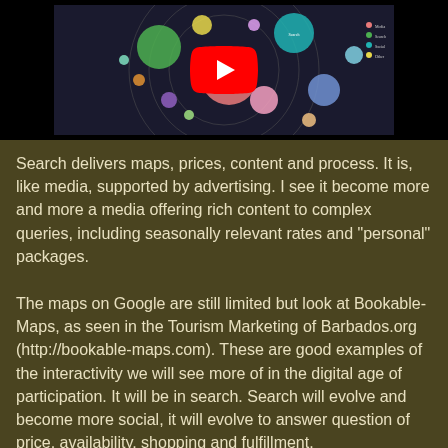[Figure (other): YouTube video embed showing a bubble chart with colorful circles of various sizes representing social media data, with a red YouTube play button overlay]
Search delivers maps, prices, content and process. It is, like media, supported by advertising. I see it become more and more a media offering rich content to complex queries, including seasonally relevant rates and "personal" packages.
The maps on Google are still limited but look at Bookable-Maps, as seen in the Tourism Marketing of Barbados.org (http://bookable-maps.com). These are good examples of the interactivity we will see more of in the digital age of participation. It will be in search. Search will evolve and become more social, it will evolve to answer question of price, availability, shopping and fulfillment.
Google's aim is to deliver a single right answer for every